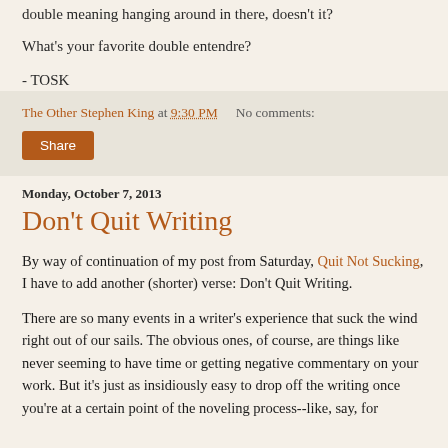double meaning hanging around in there, doesn't it?
What's your favorite double entendre?
- TOSK
The Other Stephen King at 9:30 PM   No comments:
Share
Monday, October 7, 2013
Don't Quit Writing
By way of continuation of my post from Saturday, Quit Not Sucking, I have to add another (shorter) verse: Don't Quit Writing.
There are so many events in a writer's experience that suck the wind right out of our sails.  The obvious ones, of course, are things like never seeming to have time or getting negative commentary on your work.  But it's just as insidiously easy to drop off the writing once you're at a certain point of the noveling process--like, say, for